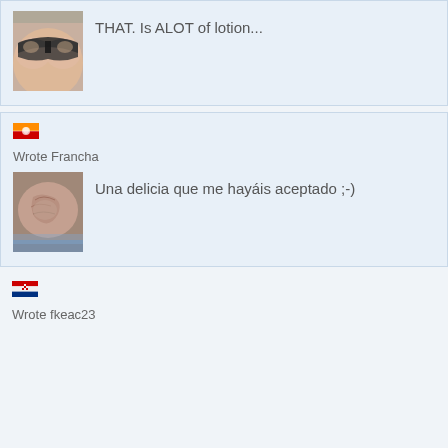[Figure (photo): User avatar showing torso in black bra]
THAT. Is ALOT of lotion...
[Figure (illustration): Flag of Bhutan emoji icon]
Wrote Francha
[Figure (photo): User avatar showing close-up skin/body part]
Una delicia que me hayáis aceptado ;-)
[Figure (illustration): Flag of Croatia emoji icon]
Wrote fkeac23